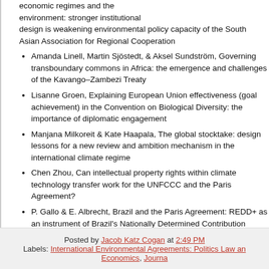economic regimes and the environment: stronger institutional design is weakening environmental policy capacity of the South Asian Association for Regional Cooperation
Amanda Linell, Martin Sjöstedt, & Aksel Sundström, Governing transboundary commons in Africa: the emergence and challenges of the Kavango–Zambezi Treaty
Lisanne Groen, Explaining European Union effectiveness (goal achievement) in the Convention on Biological Diversity: the importance of diplomatic engagement
Manjana Milkoreit & Kate Haapala, The global stocktake: design lessons for a new review and ambition mechanism in the international climate regime
Chen Zhou, Can intellectual property rights within climate technology transfer work for the UNFCCC and the Paris Agreement?
P. Gallo & E. Albrecht, Brazil and the Paris Agreement: REDD+ as an instrument of Brazil's Nationally Determined Contribution compliance
Posted by Jacob Katz Cogan at 2:49 PM Labels: International Environmental Agreements: Politics Law and Economics, Journa...